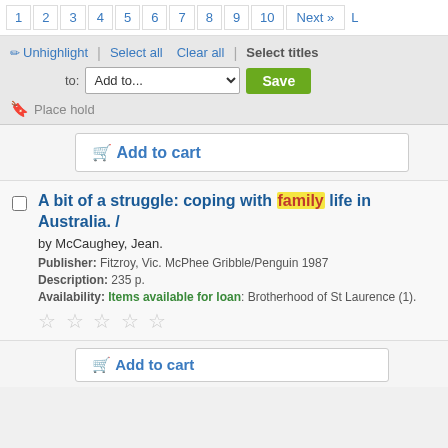1 2 3 4 5 6 7 8 9 10 Next »
Unhighlight | Select all  Clear all | Select titles to: Add to... Save
Place hold
Add to cart
A bit of a struggle: coping with family life in Australia. /
by McCaughey, Jean.
Publisher: Fitzroy, Vic. McPhee Gribble/Penguin 1987
Description: 235 p.
Availability: Items available for loan: Brotherhood of St Laurence (1).
Add to cart